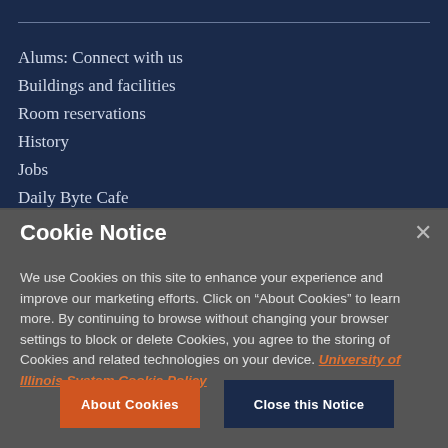Alums: Connect with us
Buildings and facilities
Room reservations
History
Jobs
Daily Byte Cafe
ECE Supply Center
Cookie Notice
We use Cookies on this site to enhance your experience and improve our marketing efforts. Click on “About Cookies” to learn more. By continuing to browse without changing your browser settings to block or delete Cookies, you agree to the storing of Cookies and related technologies on your device. University of Illinois System Cookie Policy